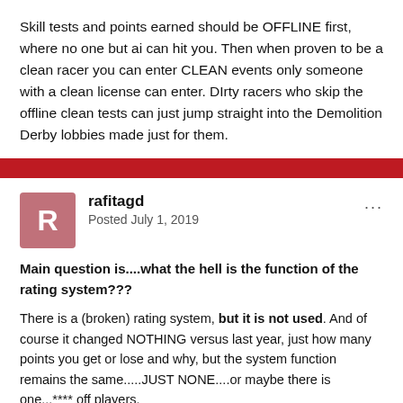Skill tests and points earned should be OFFLINE first, where no one but ai can hit you. Then when proven to be a clean racer you can enter CLEAN events only someone with a clean license can enter. DIrty racers who skip the offline clean tests can just jump straight into the Demolition Derby lobbies made just for them.
rafitagd
Posted July 1, 2019
Main question is....what the hell is the function of the rating system???
There is a (broken) rating system, but it is not used. And of course it changed NOTHING versus last year, just how many points you get or lose and why, but the system function remains the same.....JUST NONE....or maybe there is one...**** off players.
If I have safety rating A, I suppose to be racing with people with safety rating A as well.